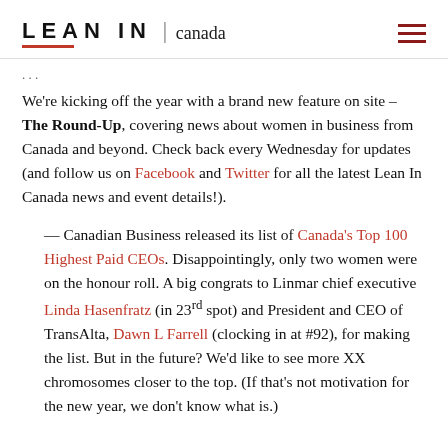LEAN IN | canada
We're kicking off the year with a brand new feature on site – The Round-Up, covering news about women in business from Canada and beyond. Check back every Wednesday for updates (and follow us on Facebook and Twitter for all the latest Lean In Canada news and event details!).
— Canadian Business released its list of Canada's Top 100 Highest Paid CEOs. Disappointingly, only two women were on the honour roll. A big congrats to Linmar chief executive Linda Hasenfratz (in 23rd spot) and President and CEO of TransAlta, Dawn L Farrell (clocking in at #92), for making the list. But in the future? We'd like to see more XX chromosomes closer to the top. (If that's not motivation for the new year, we don't know what is.)